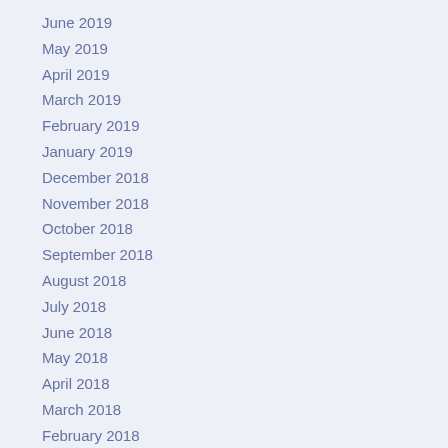June 2019
May 2019
April 2019
March 2019
February 2019
January 2019
December 2018
November 2018
October 2018
September 2018
August 2018
July 2018
June 2018
May 2018
April 2018
March 2018
February 2018
Category
1-14
1-big
10ft
10pcs
11-17
11-19
12-15
12-17